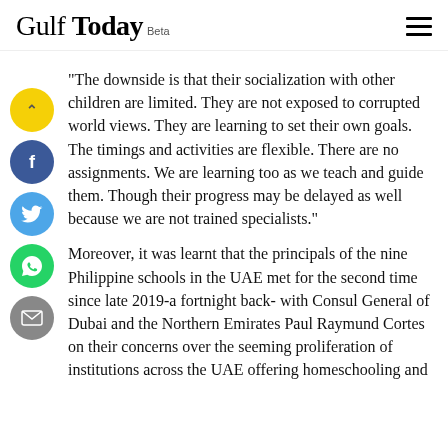Gulf Today Beta
"The downside is that their socialization with other children are limited. They are not exposed to corrupted world views. They are learning to set their own goals. The timings and activities are flexible. There are no assignments. We are learning too as we teach and guide them. Though their progress may be delayed as well because we are not trained specialists."
Moreover, it was learnt that the principals of the nine Philippine schools in the UAE met for the second time since late 2019-a fortnight back- with Consul General of Dubai and the Northern Emirates Paul Raymund Cortes on their concerns over the seeming proliferation of institutions across the UAE offering homeschooling and